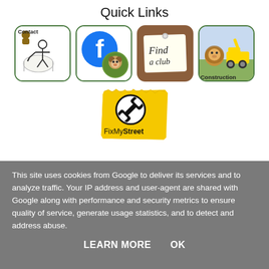Quick Links
[Figure (infographic): Four quick link icon boxes in a row: Contact (cartoon figure with scroll), Facebook (blue F logo and tree animal circle), Find a club (handwritten note on corkboard), Construction (lion and construction vehicle)]
[Figure (logo): FixMyStreet logo: yellow torn-paper background with a black circle wrench icon and text 'FixMyStreet']
This site uses cookies from Google to deliver its services and to analyze traffic. Your IP address and user-agent are shared with Google along with performance and security metrics to ensure quality of service, generate usage statistics, and to detect and address abuse.
LEARN MORE   OK